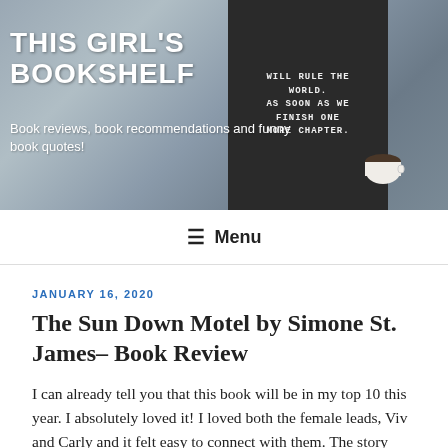THIS GIRL'S BOOKSHELF
Book reviews, book recommendations and funny book quotes!
[Figure (photo): Blog header banner with background showing cozy scene with pillows, a letterboard reading 'WILL RULE THE WORLD AS SOON AS WE FINISH ONE MORE CHAPTER.' and a coffee cup]
≡ Menu
JANUARY 16, 2020
The Sun Down Motel by Simone St. James– Book Review
I can already tell you that this book will be in my top 10 this year. I absolutely loved it! I loved both the female leads, Viv and Carly and it felt easy to connect with them. The story haunted me every time I put it down and still haunts me since I